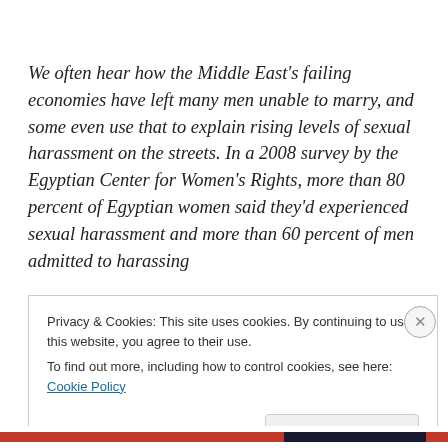We often hear how the Middle East's failing economies have left many men unable to marry, and some even use that to explain rising levels of sexual harassment on the streets. In a 2008 survey by the Egyptian Center for Women's Rights, more than 80 percent of Egyptian women said they'd experienced sexual harassment and more than 60 percent of men admitted to harassing
Privacy & Cookies: This site uses cookies. By continuing to use this website, you agree to their use.
To find out more, including how to control cookies, see here: Cookie Policy
Close and accept